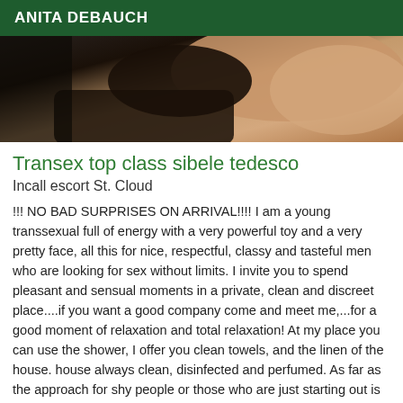ANITA DEBAUCH
[Figure (photo): Partial photo of a person in dark clothing]
Transex top class sibele tedesco
Incall escort St. Cloud
!!! NO BAD SURPRISES ON ARRIVAL!!!! I am a young transsexual full of energy with a very powerful toy and a very pretty face, all this for nice, respectful, classy and tasteful men who are looking for sex without limits. I invite you to spend pleasant and sensual moments in a private, clean and discreet place....if you want a good company come and meet me,...for a good moment of relaxation and total relaxation! At my place you can use the shower, I offer you clean towels, and the linen of the house. house always clean, disinfected and perfumed. As far as the approach for shy people or those who are just starting out is concerned, it is done by humbly,